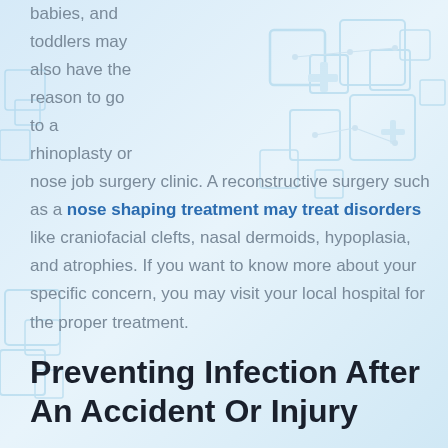babies, and toddlers may also have the reason to go to a rhinoplasty or nose job surgery clinic. A reconstructive surgery such as a nose shaping treatment may treat disorders like craniofacial clefts, nasal dermoids, hypoplasia, and atrophies. If you want to know more about your specific concern, you may visit your local hospital for the proper treatment.
Preventing Infection After An Accident Or Injury